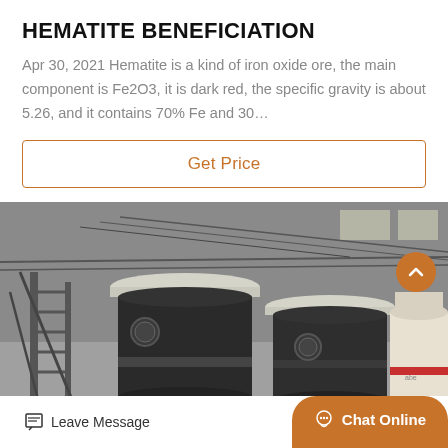HEMATITE BENEFICIATION
Apr 30, 2021 Hematite is a kind of iron oxide ore, the main component is Fe2O3, it is dark red, the specific gravity is about 5.26, and it contains 70% Fe and 30...
Get Price
[Figure (photo): Industrial machinery photo showing large black cylindrical grinding/milling machines in a factory setting, with white cone-shaped machines visible on the right side.]
Leave Message
Chat Online